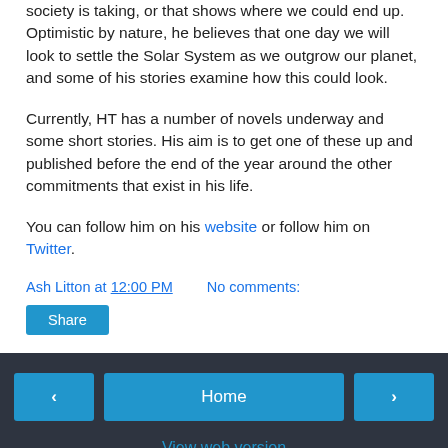society is taking, or that shows where we could end up. Optimistic by nature, he believes that one day we will look to settle the Solar System as we outgrow our planet, and some of his stories examine how this could look.
Currently, HT has a number of novels underway and some short stories. His aim is to get one of these up and published before the end of the year around the other commitments that exist in his life.
You can follow him on his website or follow him on Twitter.
Ash Litton at 12:00 PM    No comments:
Share
◄   Home   ►
View web version
Powered by Blogger.